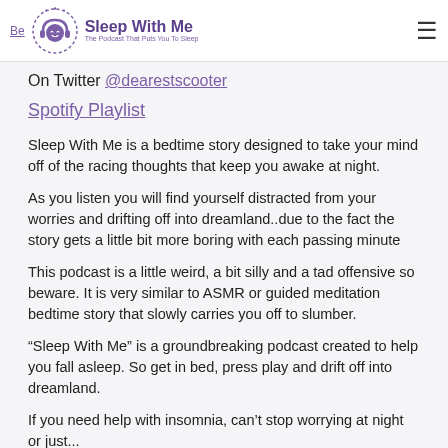Be... Sleep With Me The Podcast That Puts You To Sleep [hamburger menu]
On Twitter @dearestscooter
Spotify Playlist
Sleep With Me is a bedtime story designed to take your mind off of the racing thoughts that keep you awake at night.
As you listen you will find yourself distracted from your worries and drifting off into dreamland..due to the fact the story gets a little bit more boring with each passing minute
This podcast is a little weird, a bit silly and a tad offensive so beware. It is very similar to ASMR or guided meditation bedtime story that slowly carries you off to slumber.
“Sleep With Me” is a groundbreaking podcast created to help you fall asleep. So get in bed, press play and drift off into dreamland.
If you need help with insomnia, can’t stop worrying at night or just...